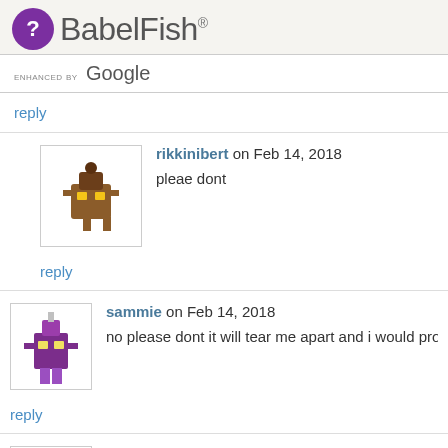BabelFish® — ENHANCED BY Google
reply
rikkinibert on Feb 14, 2018
pleae dont
reply
sammie on Feb 14, 2018
no please dont it will tear me apart and i would probably d
reply
jade on Feb 14, 2018
...
reply